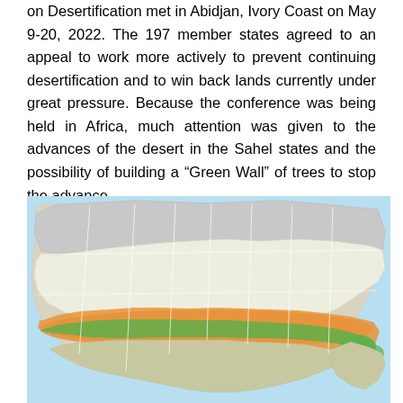on Desertification met in Abidjan, Ivory Coast on May 9-20, 2022. The 197 member states agreed to an appeal to work more actively to prevent continuing desertification and to win back lands currently under great pressure. Because the conference was being held in Africa, much attention was given to the advances of the desert in the Sahel states and the possibility of building a “Green Wall” of trees to stop the advance.
[Figure (map): Map of northern Africa showing the Sahel region with an orange band representing the desert/semi-arid zone and a green band representing the proposed Great Green Wall corridor running roughly east-west across the continent.]